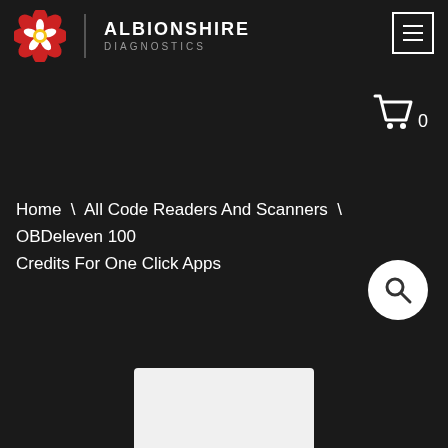[Figure (logo): Albionshire Diagnostics logo with red rose emblem and text]
Home \ All Code Readers And Scanners \ OBDeleven 100 Credits For One Click Apps